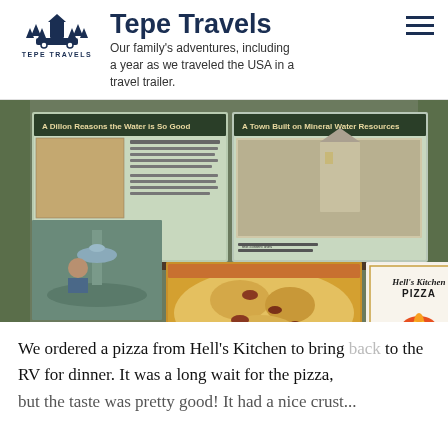Tepe Travels — Our family's adventures, including a year as we traveled the USA in a travel trailer.
[Figure (photo): Collage of four photos: two informational signs about mineral water resources and geology, a stone water fountain, a close-up of pizza from Hell's Kitchen Pizza, and the Hell's Kitchen Pizza logo/box.]
We ordered a pizza from Hell's Kitchen to bring back to the RV for dinner. It was a long wait for the pizza, but the taste was pretty good! It had a nice crust...